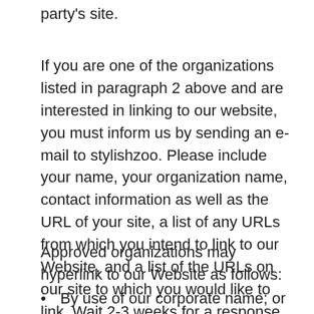party's site.
If you are one of the organizations listed in paragraph 2 above and are interested in linking to our website, you must inform us by sending an e-mail to stylishzoo. Please include your name, your organization name, contact information as well as the URL of your site, a list of any URLs from which you intend to link to our Website, and a list of the URLs on our site to which you would like to link. Wait 2-3 weeks for a response.
Approved organizations may hyperlink to our Website as follows:
By use of our corporate name; or